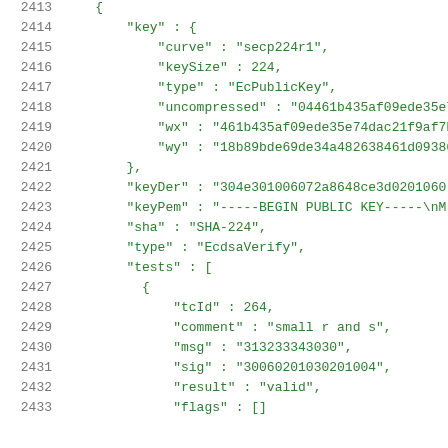JSON code block lines 2413-2433 showing EcdsaVerify test structure with secp224r1 curve key and test case 264 with small r and s
2413: {
2414:   "key" : {
2415:     "curve" : "secp224r1",
2416:     "keySize" : 224,
2417:     "type" : "EcPublicKey",
2418:     "uncompressed" : "04461b435af09ede35e74
2419:     "wx" : "461b435af09ede35e74dac21f9af7b1
2420:     "wy" : "18b89bde69de34a482638461d09386e
2421:   },
2422:   "keyDer" : "304e301006072a8648ce3d0201060
2423:   "keyPem" : "-----BEGIN PUBLIC KEY-----\nM
2424:   "sha" : "SHA-224",
2425:   "type" : "EcdsaVerify",
2426:   "tests" : [
2427:     {
2428:       "tcId" : 264,
2429:       "comment" : "small r and s",
2430:       "msg" : "313233343030",
2431:       "sig" : "30060201030201004",
2432:       "result" : "valid",
2433:       "flags" : []